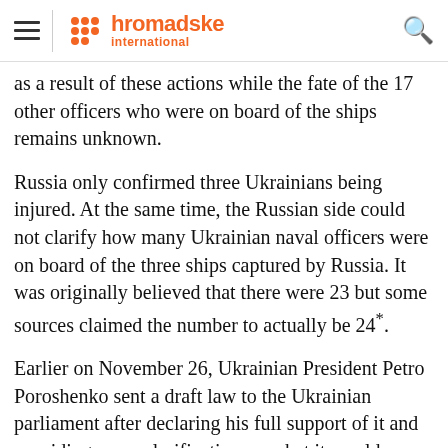hromadske international
as a result of these actions while the fate of the 17 other officers who were on board of the ships remains unknown.
Russia only confirmed three Ukrainians being injured. At the same time, the Russian side could not clarify how many Ukrainian naval officers were on board of the three ships captured by Russia. It was originally believed that there were 23 but some sources claimed the number to actually be 24*.
Earlier on November 26, Ukrainian President Petro Poroshenko sent a draft law to the Ukrainian parliament after declaring his full support of it and providing some clarification on what it would mean…